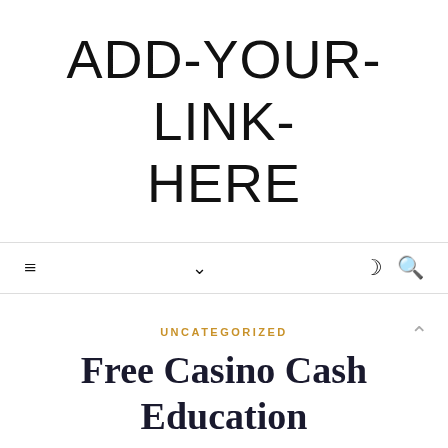ADD-YOUR-LINK-HERE
≡  ∨  ☽ 🔍
UNCATEGORIZED
Free Casino Cash Education